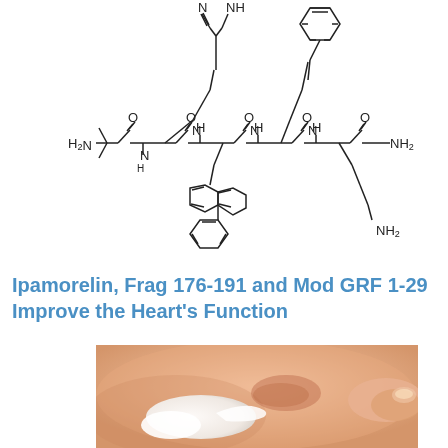[Figure (schematic): Chemical structure diagram of Ipamorelin peptide showing the molecular backbone with amino acid residues including Aib, His, D-2-Nal, D-Phe, Lys-NH2 connected by peptide bonds, with NH2 terminus on left and NH2 amide terminus on right]
Ipamorelin, Frag 176-191 and Mod GRF 1-29 Improve the Heart's Function
[Figure (photo): Close-up photo of white cream being applied to irritated/dry skin on an arm, with fingers visible on the right side]